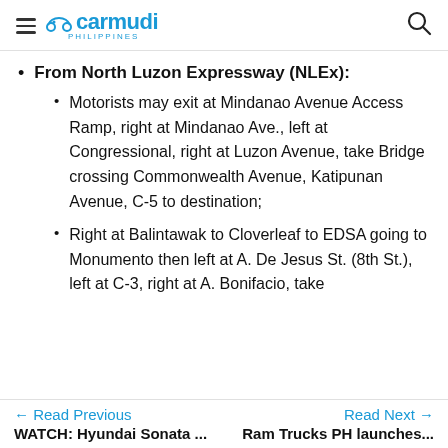Carmudi Philippines
From North Luzon Expressway (NLEx):
Motorists may exit at Mindanao Avenue Access Ramp, right at Mindanao Ave., left at Congressional, right at Luzon Avenue, take Bridge crossing Commonwealth Avenue, Katipunan Avenue, C-5 to destination;
Right at Balintawak to Cloverleaf to EDSA going to Monumento then left at A. De Jesus St. (8th St.), left at C-3, right at A. Bonifacio, take
← Read Previous  WATCH: Hyundai Sonata ...    Read Next →  Ram Trucks PH launches...